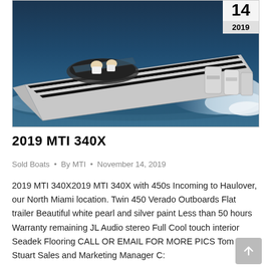[Figure (photo): A high-performance speedboat (2019 MTI 340X) with white and silver striped paint, twin outboard motors, speeding across dark blue water creating white wake spray. Two people visible in cockpit.]
2019 MTI 340X
Sold Boats • By MTI • November 14, 2019
2019 MTI 340X2019 MTI 340X with 450s Incoming to Haulover, our North Miami location. Twin 450 Verado Outboards Flat trailer Beautiful white pearl and silver paint Less than 50 hours Warranty remaining JL Audio stereo Full Cool touch interior Seadek Flooring CALL OR EMAIL FOR MORE PICS Tom Stuart Sales and Marketing Manager C: